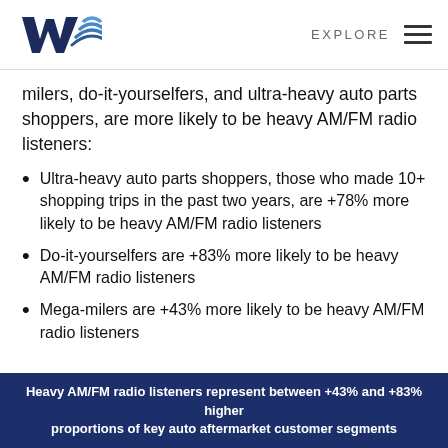EXPLORE
milers, do-it-yourselfers, and ultra-heavy auto parts shoppers, are more likely to be heavy AM/FM radio listeners:
Ultra-heavy auto parts shoppers, those who made 10+ shopping trips in the past two years, are +78% more likely to be heavy AM/FM radio listeners
Do-it-yourselfers are +83% more likely to be heavy AM/FM radio listeners
Mega-milers are +43% more likely to be heavy AM/FM radio listeners
Heavy AM/FM radio listeners represent between +43% and +83% higher proportions of key auto aftermarket customer segments